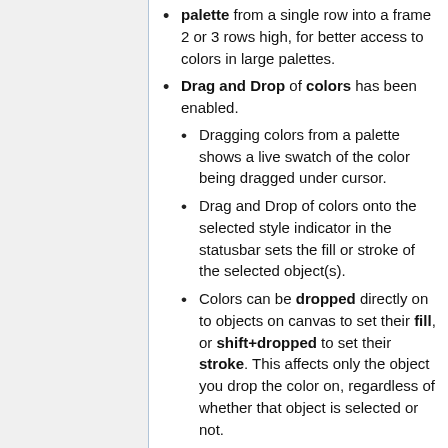palette from a single row into a frame 2 or 3 rows high, for better access to colors in large palettes.
Drag and Drop of colors has been enabled.
Dragging colors from a palette shows a live swatch of the color being dragged under cursor.
Drag and Drop of colors onto the selected style indicator in the statusbar sets the fill or stroke of the selected object(s).
Colors can be dropped directly on to objects on canvas to set their fill, or shift+dropped to set their stroke. This affects only the object you drop the color on, regardless of whether that object is selected or not.
Colors can be dragged to and